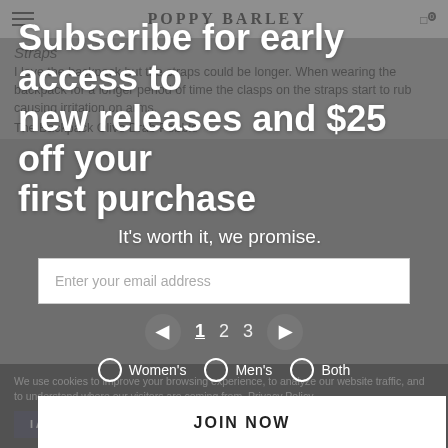POPPY BARLEY
Straps
I love the backpack but the straps could be longer. When wearing the backpack for a longer period of time the clasps on the straps start to rub causing irritation on arms.
The Backpack Olive Drab Pebble
Subscribe for early access to new releases and $25 off your first purchase
It's worth it, we promise.
Enter your email address
1  2  3
Women's   Men's   Both
JOIN NOW
By entering your email and submitting this form, you consent to receive marketing emails (including promotional access to Cart reminders) from Poppy Barley at the email provided. Consent is not a condition of any purchase. Email frequency varies. You can unsubscribe at any time by replying STOP or clicking the unsubscribe link (where available) in one of our emails. View our Privacy Policy and Terms of Service.
We use cookies to improve your browsing experience, to analyze our website traffic, and to understand where our visitors are coming from. Privacy Policy
I Agree